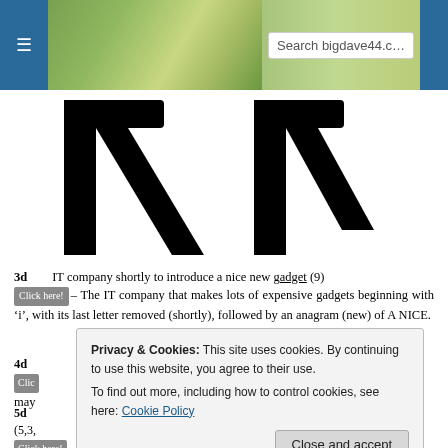Search bigdave44.c...
[Figure (illustration): Large black letters resembling Greek or Cyrillic characters (like stylized Y/P shapes), displayed in very large font against white background]
3d   IT company shortly to introduce a nice new gadget (9)  [Click here!] – The IT company that makes lots of expensive gadgets beginning with 'i', with its last letter removed (shortly), followed by an anagram (new) of A NICE.
4d  [Click here]  ... that may...
5d  ...ation (5,3,...  [Click here!] – Anagram (out) of HOW ATTENDER and PINT.
Privacy & Cookies: This site uses cookies. By continuing to use this website, you agree to their use. To find out more, including how to control cookies, see here: Cookie Policy
Close and accept